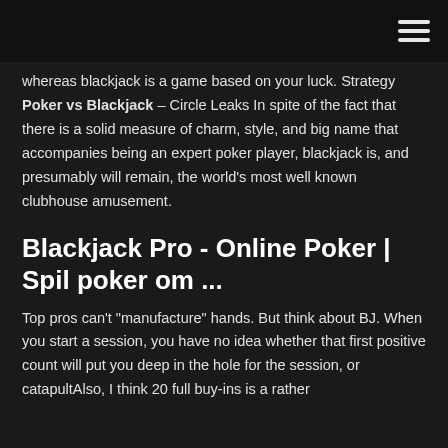whereas blackjack is a game based on your luck. Strategy Poker vs Blackjack – Circle Leaks In spite of the fact that there is a solid measure of charm, style, and big name that accompanies being an expert poker player, blackjack is, and presumably will remain, the world's most well known clubhouse amusement.
Blackjack Pro - Online Poker | Spil poker om ...
Top pros can't "manufacture" hands. But think about BJ. When you start a session, you have no idea whether that first positive count will put you deep in the hole for the session, or catapultAlso, I think 20 full buy-ins is a rather